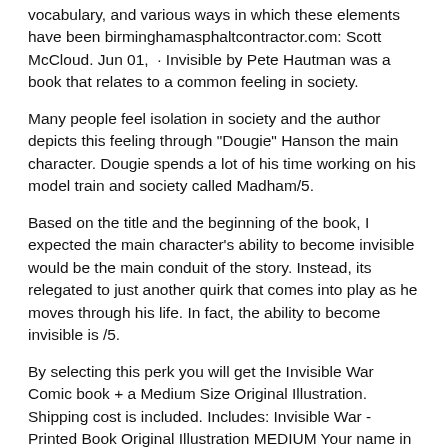vocabulary, and various ways in which these elements have been birminghamasphaltcontractor.com: Scott McCloud. Jun 01,  · Invisible by Pete Hautman was a book that relates to a common feeling in society.
Many people feel isolation in society and the author depicts this feeling through "Dougie" Hanson the main character. Dougie spends a lot of his time working on his model train and society called Madham/5.
Based on the title and the beginning of the book, I expected the main character's ability to become invisible would be the main conduit of the story. Instead, its relegated to just another quirk that comes into play as he moves through his life. In fact, the ability to become invisible is /5.
By selecting this perk you will get the Invisible War Comic book + a Medium Size Original Illustration. Shipping cost is included. Includes: Invisible War - Printed Book Original Illustration MEDIUM Your name in the "Thank You" page of the book Surprise Sticker if you get the perk in the first 2 campaign days Less.